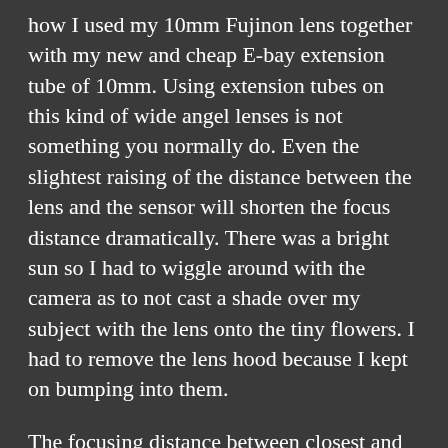how I used my 10mm Fujinon lens together with my new and cheap E-bay extension tube of 10mm. Using extension tubes on this kind of wide angel lenses is not something you normally do. Even the slightest raising of the distance between the lens and the sensor will shorten the focus distance dramatically. There was a bright sun so I had to wiggle around with the camera as to not cast a shade over my subject with the lens onto the tiny flowers. I had to remove the lens hood because I kept on bumping into them.
The focusing distance between closest and furthest is around 2 to 3 cm, really short so you have no choice to get close. The downside of this that  if you bring this small and lightweight extension tube with you for the occasional macro shot you better make sure it’s only small flowers or other objects.